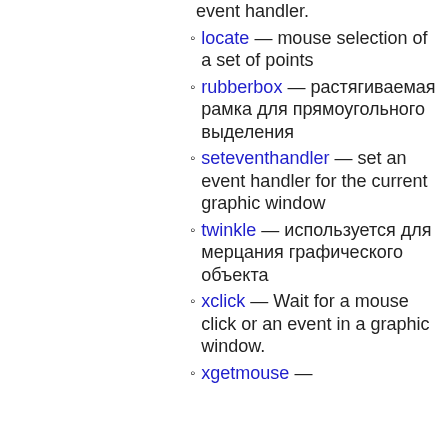event handler.
locate — mouse selection of a set of points
rubberbox — растягиваемая рамка для прямоугольного выделения
seteventhandler — set an event handler for the current graphic window
twinkle — используется для мерцания графического объекта
xclick — Wait for a mouse click or an event in a graphic window.
xgetmouse —